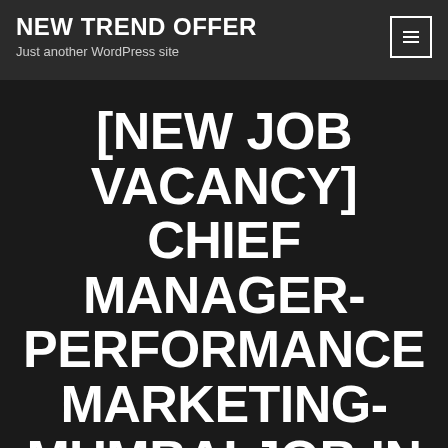NEW TREND OFFER
Just another WordPress site
[NEW JOB VACANCY] CHIEF MANAGER- PERFORMANCE MARKETING- MUMBAI JOB IN ICICI PRUDENTIAL LIFE